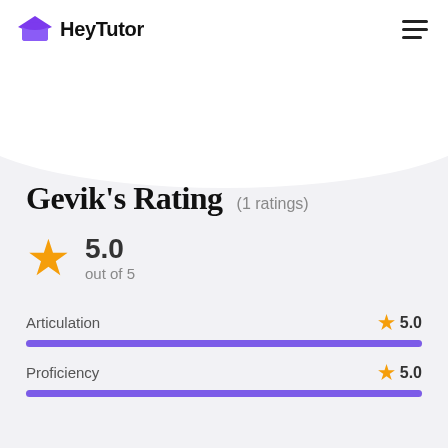HeyTutor
Gevik's Rating (1 ratings)
5.0 out of 5
Articulation  ★ 5.0
Proficiency  ★ 5.0